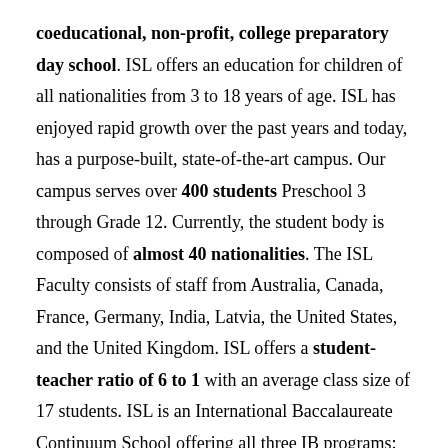coeducational, non-profit, college preparatory day school. ISL offers an education for children of all nationalities from 3 to 18 years of age. ISL has enjoyed rapid growth over the past years and today, has a purpose-built, state-of-the-art campus. Our campus serves over 400 students Preschool 3 through Grade 12. Currently, the student body is composed of almost 40 nationalities. The ISL Faculty consists of staff from Australia, Canada, France, Germany, India, Latvia, the United States, and the United Kingdom. ISL offers a student-teacher ratio of 6 to 1 with an average class size of 17 students. ISL is an International Baccalaureate Continuum School offering all three IB programs: Primary Years Program (PYP) - Preschool 3 - Grade 5, Middle Years Program (MYP) - Grade 6-10, and...